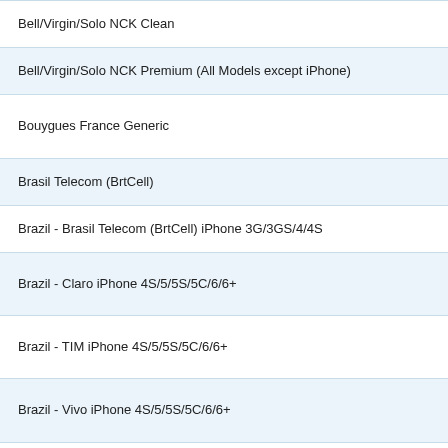Bell/Virgin/Solo NCK Clean
Bell/Virgin/Solo NCK Premium (All Models except iPhone)
Bouygues France Generic
Brasil Telecom (BrtCell)
Brazil - Brasil Telecom (BrtCell) iPhone 3G/3GS/4/4S
Brazil - Claro iPhone 4S/5/5S/5C/6/6+
Brazil - TIM iPhone 4S/5/5S/5C/6/6+
Brazil - Vivo iPhone 4S/5/5S/5C/6/6+